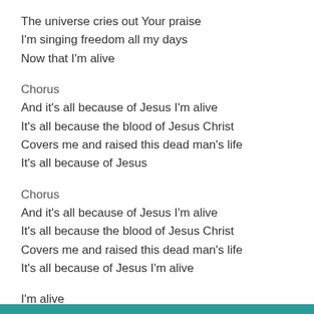The universe cries out Your praise
I'm singing freedom all my days
Now that I'm alive
Chorus
And it's all because of Jesus I'm alive
It's all because the blood of Jesus Christ
Covers me and raised this dead man's life
It's all because of Jesus
Chorus
And it's all because of Jesus I'm alive
It's all because the blood of Jesus Christ
Covers me and raised this dead man's life
It's all because of Jesus I'm alive
I'm alive
I'm alive
I'm alive
Like All Because Of Jesus?